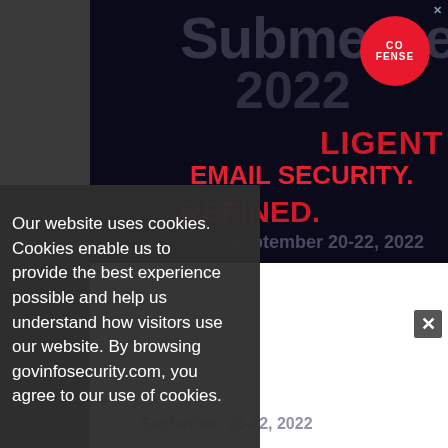[Figure (screenshot): Advertisement banner for Cofense 'Virtual Submerge 2022' event on a dark navy background. Features a red envelope/mail icon graphic, 'COFENSE' logo in red circle, large white bold 'Virtual' text, and faded 'Submerge 2022' text. Red text reads 'INTELLIGENT EMAIL SECURITY. REDEFINED.' at bottom with 'September 20-22, 2022' partially visible.]
Our website uses cookies. Cookies enable us to provide the best experience possible and help us understand how visitors use our website. By browsing govinfosecurity.com, you agree to our use of cookies.